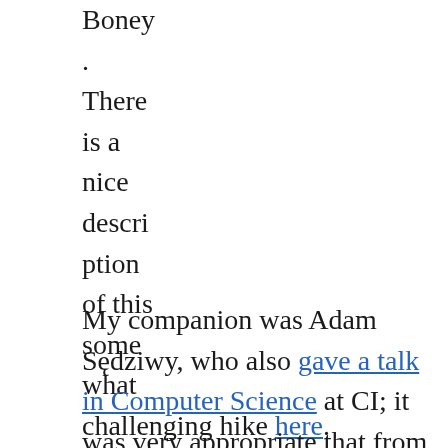Boney.
There is a nice description of this somewhat challenging hike here.
My companion was Adam Sędziwy, who also gave a talk in Computer Science at CI; it was very appropriate that from the top of the Tri-Peaks we were able to see both the CI campus,